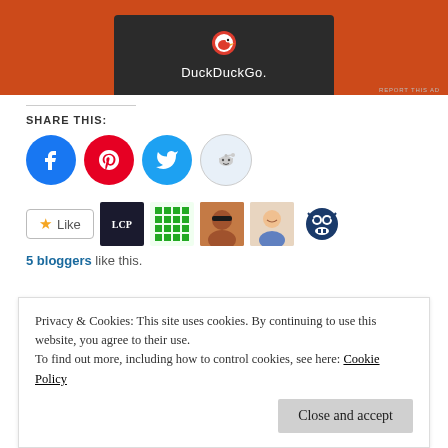[Figure (screenshot): DuckDuckGo advertisement banner with dark gray center panel on orange background showing DuckDuckGo logo and name]
REPORT THIS AD
SHARE THIS:
[Figure (infographic): Four social share buttons: Facebook (blue circle), Pinterest (red circle), Twitter (blue circle), Reddit (light blue circle)]
[Figure (infographic): Like button with star icon, followed by five blogger avatars: LCP logo, green grid pattern, person in sunglasses, smiling man, blue monster avatar]
5 bloggers like this.
Privacy & Cookies: This site uses cookies. By continuing to use this website, you agree to their use.
To find out more, including how to control cookies, see here: Cookie Policy